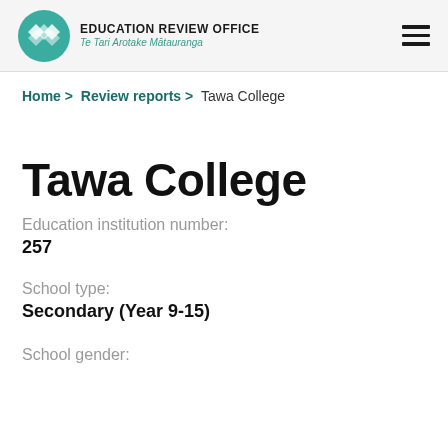Education Review Office Te Tari Arotake Mātauranga
Home > Review reports > Tawa College
Tawa College
Education institution number:
257
School type:
Secondary (Year 9-15)
School gender: